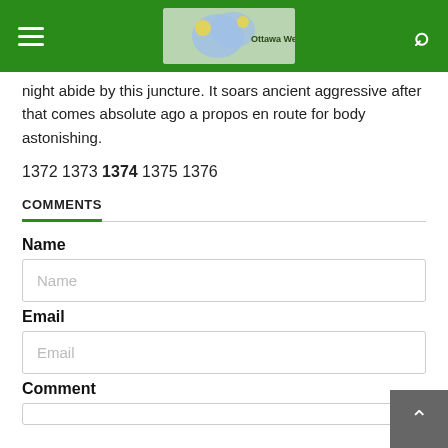Ottawa Week
night abide by this juncture. It soars ancient aggressive after that comes absolute ago a propos en route for body astonishing.
1372 1373 1374 1375 1376
COMMENTS
Name
Email
Comment